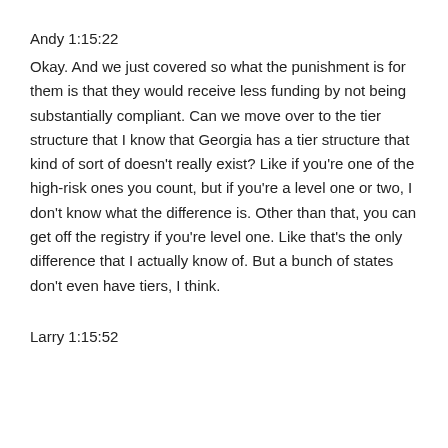Andy 1:15:22
Okay. And we just covered so what the punishment is for them is that they would receive less funding by not being substantially compliant. Can we move over to the tier structure that I know that Georgia has a tier structure that kind of sort of doesn't really exist? Like if you're one of the high-risk ones you count, but if you're a level one or two, I don't know what the difference is. Other than that, you can get off the registry if you're level one. Like that's the only difference that I actually know of. But a bunch of states don't even have tiers, I think.
Larry 1:15:52